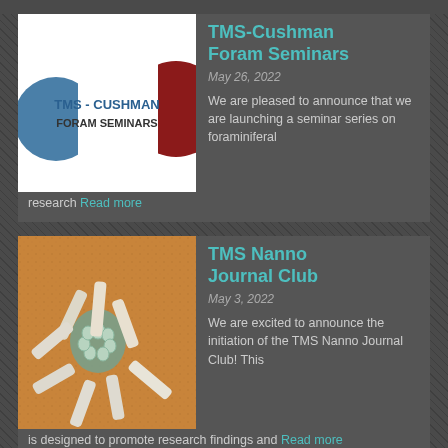TMS-Cushman Foram Seminars
May 26, 2022
We are pleased to announce that we are launching a seminar series on foraminiferal research Read more
[Figure (logo): TMS - Cushman Foram Seminars logo with blue circle and dark red circle on white background]
TMS Nanno Journal Club
May 3, 2022
We are excited to announce the initiation of the TMS Nanno Journal Club! This is designed to promote research findings and Read more
[Figure (photo): Scanning electron microscope image of nannofossil (coccolithophore) showing cylindrical calcite structures on a brownish-orange background]